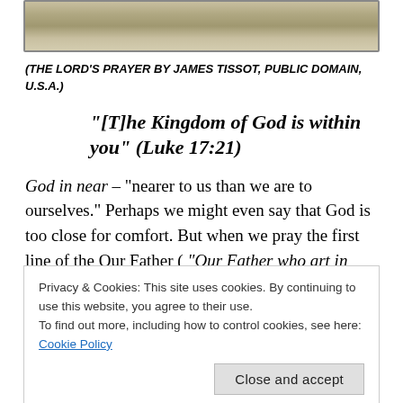[Figure (illustration): Partial view of a painting depicting The Lord's Prayer by James Tissot — landscape scene with figures, muted tones of green and tan.]
(THE LORD'S PRAYER BY JAMES TISSOT, PUBLIC DOMAIN, U.S.A.)
“[T]he Kingdom of God is within you” (Luke 17:21)
God in near – “nearer to us than we are to ourselves.” Perhaps we might even say that God is too close for comfort. But when we pray the first line of the Our Father (“Our Father who art in
Privacy & Cookies: This site uses cookies. By continuing to use this website, you agree to their use.
To find out more, including how to control cookies, see here: Cookie Policy
The Catechism of the Catholic Church (CCC) states in